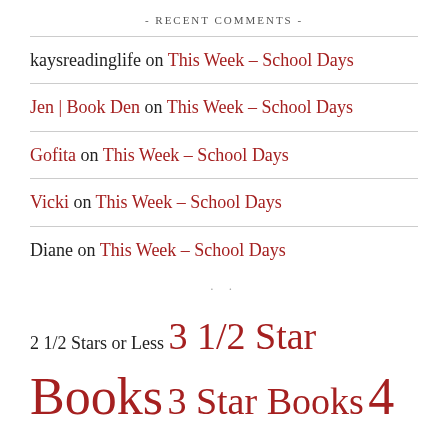- RECENT COMMENTS -
kaysreadinglife on This Week – School Days
Jen | Book Den on This Week – School Days
Gofita on This Week – School Days
Vicki on This Week – School Days
Diane on This Week – School Days
· ·
2 1/2 Stars or Less  3 1/2 Star Books  3 Star Books  4 1/2